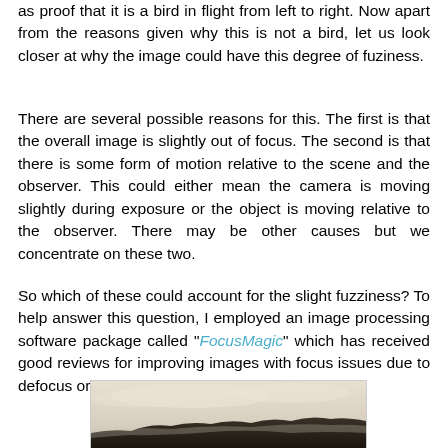as proof that it is a bird in flight from left to right. Now apart from the reasons given why this is not a bird, let us look closer at why the image could have this degree of fuziness.
There are several possible reasons for this. The first is that the overall image is slightly out of focus. The second is that there is some form of motion relative to the scene and the observer. This could either mean the camera is moving slightly during exposure or the object is moving relative to the observer. There may be other causes but we concentrate on these two.
So which of these could account for the slight fuzziness? To help answer this question, I employed an image processing software package called "FocusMagic" which has received good reviews for improving images with focus issues due to defocus or motion blur.
[Figure (photo): A landscape photograph showing a hazy sky and dark hillside or mountain silhouette at the bottom, with misty/foggy atmosphere.]